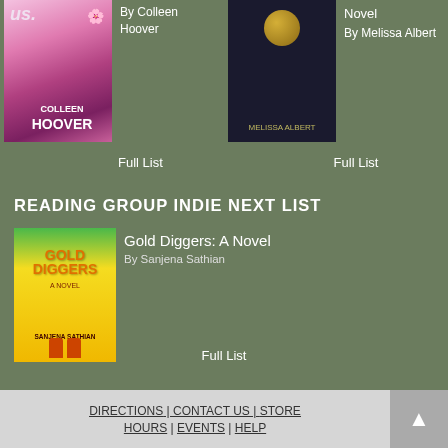[Figure (illustration): Book cover for a Colleen Hoover novel with pink/purple floral theme]
By Colleen Hoover
[Figure (illustration): Book cover for a Melissa Albert novel with dark door/doorknob theme]
Novel
By Melissa Albert
Full List
Full List
READING GROUP INDIE NEXT LIST
[Figure (illustration): Book cover for Gold Diggers: A Novel by Sanjena Sathian, yellow/green cover with figures]
Gold Diggers: A Novel
By Sanjena Sathian
Full List
DIRECTIONS | CONTACT US | STORE
HOURS | EVENTS | HELP